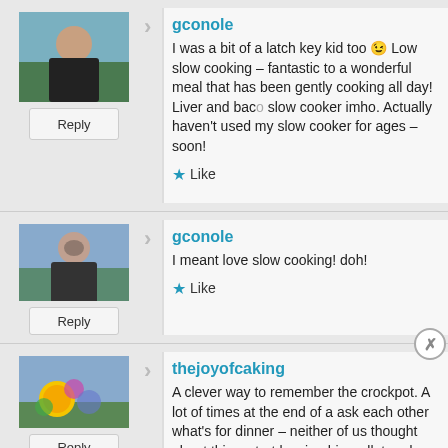gconole
I was a bit of a latch key kid too 😉 Low slow cooking – fantastic to a wonderful meal that has been gently cooking all day! Liver and baco slow cooker imho. Actually haven't used my slow cooker for ages – soon!
Like
gconole
I meant love slow cooking! doh!
Like
thejoyofcaking
A clever way to remember the crockpot. A lot of times at the end of a ask each other what's for dinner – neither of us thought about this e start leaving his wallet and my purse in the freezer so we will re
Advertisements
[Figure (other): DuckDuckGo advertisement banner: orange left section with text 'Search, browse, and email with more privacy. All in One Free App' and dark right section with DuckDuckGo logo]